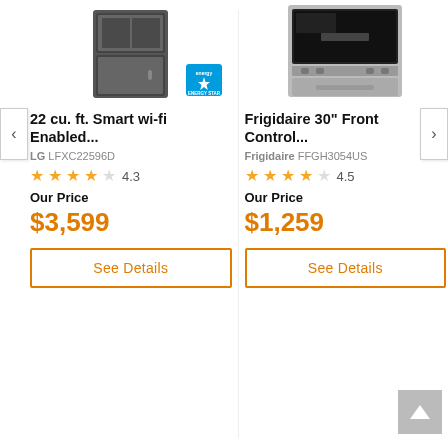[Figure (photo): LG refrigerator product photo, dark stainless steel French door model, with Energy Star badge]
22 cu. ft. Smart wi-fi Enabled...
LG LFXC22596D
★★★★☆ 4.3
Our Price
$3,599
See Details
[Figure (photo): Frigidaire 30 inch front control oven/range product photo, stainless steel]
Frigidaire 30" Front Control...
Frigidaire FFGH3054US
★★★★☆ 4.5
Our Price
$1,259
See Details